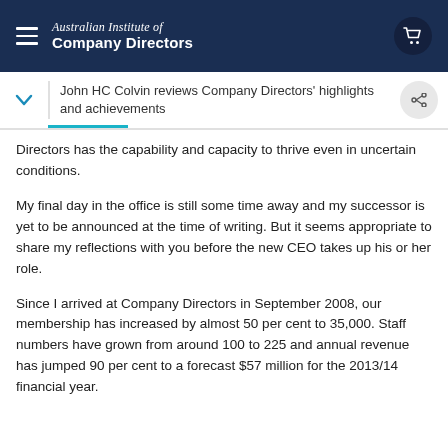Australian Institute of Company Directors
John HC Colvin reviews Company Directors' highlights and achievements
Directors has the capability and capacity to thrive even in uncertain conditions.
My final day in the office is still some time away and my successor is yet to be announced at the time of writing. But it seems appropriate to share my reflections with you before the new CEO takes up his or her role.
Since I arrived at Company Directors in September 2008, our membership has increased by almost 50 per cent to 35,000. Staff numbers have grown from around 100 to 225 and annual revenue has jumped 90 per cent to a forecast $57 million for the 2013/14 financial year.